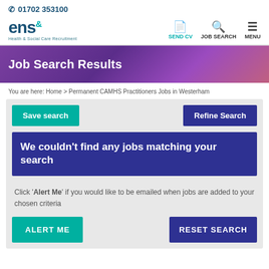✆ 01702 353100
[Figure (logo): ENS Health & Social Care Recruitment logo with teal ampersand superscript, alongside SEND CV, JOB SEARCH, MENU navigation icons]
[Figure (photo): Hero banner with purple/violet gradient background showing 'Job Search Results' heading]
You are here: Home > Permanent CAMHS Practitioners Jobs in Westerham
Save search
Refine Search
We couldn't find any jobs matching your search
Click 'Alert Me' if you would like to be emailed when jobs are added to your chosen criteria
ALERT ME
RESET SEARCH